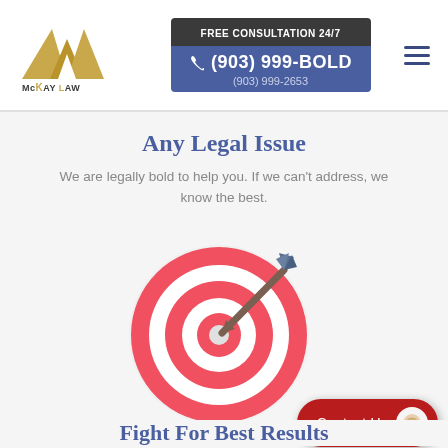[Figure (logo): McKay Law Personal Injury logo with gold/yellow geometric mountain-like triangles and text 'McKAY LAW PERSONAL INJURY']
[Figure (infographic): Phone contact box with dark header 'FREE CONSULTATION 24/7', blue body showing phone icon, '(903) 999-BOLD', '(903) 999-2653']
Any Legal Issue
We are legally bold to help you. If we can't address, we know the best.
[Figure (illustration): Target/bullseye with arrow hitting center, red and white rings, arrow pointing into center from upper right]
[Figure (other): Contact Us button in red with chat icon]
Fight For Best Results